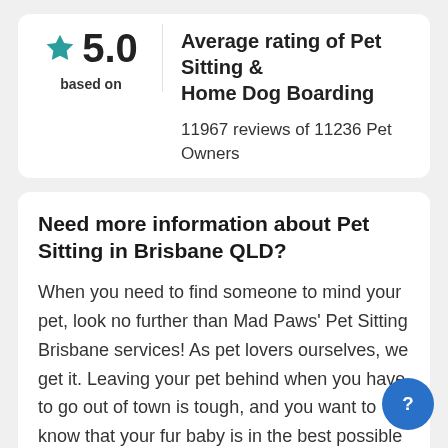5.0
based on
Average rating of Pet Sitting & Home Dog Boarding
11967 reviews of 11236 Pet Owners
Need more information about Pet Sitting in Brisbane QLD?
When you need to find someone to mind your pet, look no further than Mad Paws' Pet Sitting Brisbane services! As pet lovers ourselves, we get it. Leaving your pet behind when you have to go out of town is tough, and you want to know that your fur baby is in the best possible care. With Mad Paws' Pet Sitting Brisbane services, you can be sure that our Pet Sitters will care for your pet as if they were part the family. We know, because we select only the biggest animal lovers we can find.